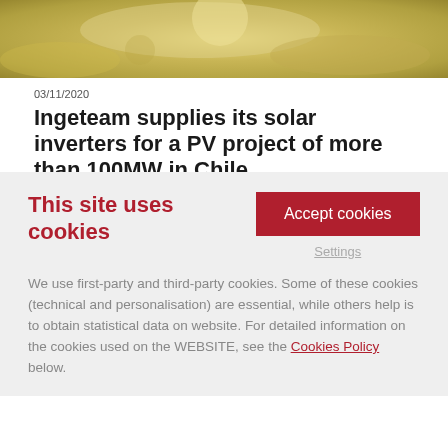[Figure (photo): Close-up photo of sand or granular material in sandy/golden tones, partially cropped at top]
03/11/2020
Ingeteam supplies its solar inverters for a PV project of more than 100MW in Chile
This site uses cookies
Accept cookies
Settings
We use first-party and third-party cookies. Some of these cookies (technical and personalisation) are essential, while others help is to obtain statistical data on website. For detailed information on the cookies used on the WEBSITE, see the Cookies Policy below.